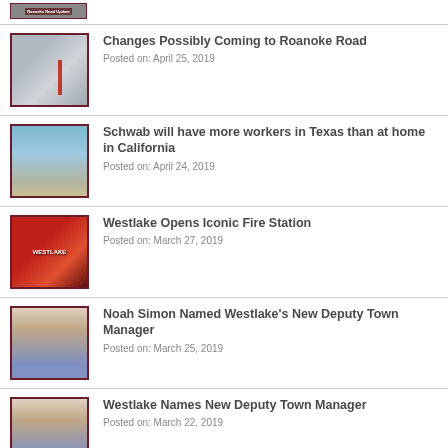[Figure (photo): Small thumbnail of Roanoke Road sign/aerial view with label overlay]
[Figure (photo): Aerial view of Roanoke Road intersection]
Changes Possibly Coming to Roanoke Road
Posted on: April 25, 2019
[Figure (photo): Schwab building exterior photo]
Schwab will have more workers in Texas than at home in California
Posted on: April 24, 2019
[Figure (photo): Westlake Fire Station opening event with fire trucks and crowd]
Westlake Opens Iconic Fire Station
Posted on: March 27, 2019
[Figure (photo): Portrait of Noah Simon]
Noah Simon Named Westlake's New Deputy Town Manager
Posted on: March 25, 2019
[Figure (photo): Portrait of new deputy town manager]
Westlake Names New Deputy Town Manager
Posted on: March 22, 2019